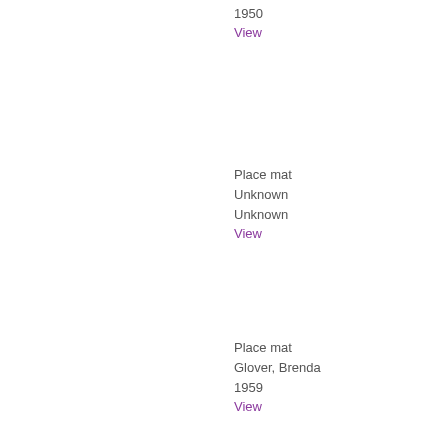1950
View
Place mat
Unknown
Unknown
View
Place mat
Glover, Brenda
1959
View